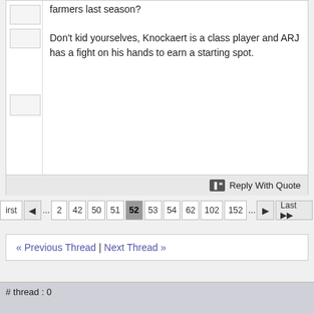farmers last season? Don't kid yourselves, Knockaert is a class player and ARJ has a fight on his hands to earn a starting spot.
Reply With Quote
... 2 42 50 51 52 53 54 62 102 152 ...
« Previous Thread | Next Thread »
# thread : 0